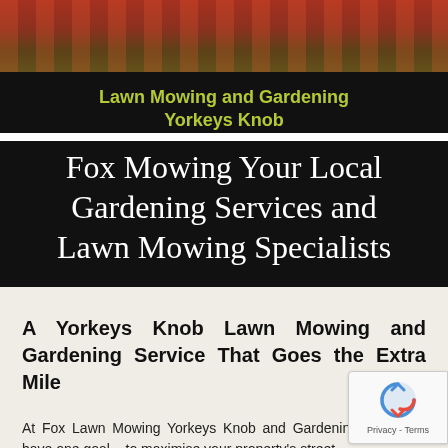[Figure (photo): Hero image showing a gardener/lawn mowing specialist, with orange/red roof tiles visible and green hedge in background]
Lawn Mowing and Gardening Yorkeys Knob
Fox Mowing Your Local Gardening Services and Lawn Mowing Specialists
A Yorkeys Knob Lawn Mowing and Gardening Service That Goes the Extra Mile
At Fox Lawn Mowing Yorkeys Knob and Gardening Knob, we have one goal – to maximise your property's street